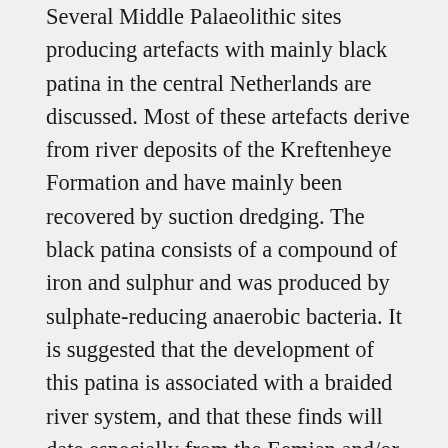Several Middle Palaeolithic sites producing artefacts with mainly black patina in the central Netherlands are discussed. Most of these artefacts derive from river deposits of the Kreftenheye Formation and have mainly been recovered by suction dredging. The black patina consists of a compound of iron and sulphur and was produced by sulphate-reducing anaerobic bacteria. It is suggested that the development of this patina is associated with a braided river system, and that these finds will date especially from the Eemian and/or the Early or Middle Weichselian (130,000–40,000 years ago). In cultural terms, they can be placed in the Mousterian or in some cases in the Keilmesser Gruppen. It is probable that the important Middeldiep site in the North Sea, which has yielded more than ten handaxes, belongs to the same group; this site also produced a skull fragment of a Neanderthal. Artefacts of the Rhenen Industry in the central Netherlands derive from much older river